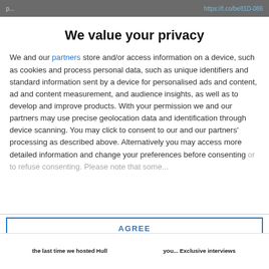https://t.co/be81D-086
We value your privacy
We and our partners store and/or access information on a device, such as cookies and process personal data, such as unique identifiers and standard information sent by a device for personalised ads and content, ad and content measurement, and audience insights, as well as to develop and improve products. With your permission we and our partners may use precise geolocation data and identification through device scanning. You may click to consent to our and our partners' processing as described above. Alternatively you may access more detailed information and change your preferences before consenting
AGREE
MORE OPTIONS
the last time we hosted Hull   you... Exclusive interviews